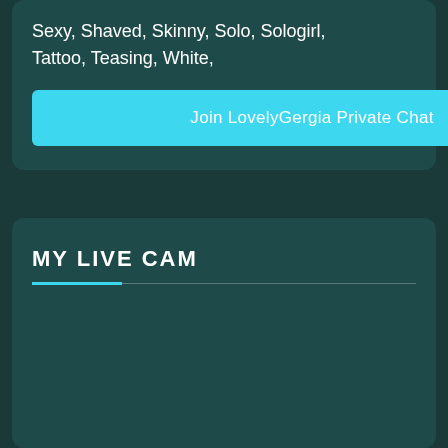Sexy, Shaved, Skinny, Solo, Sologirl, Tattoo, Teasing, White,
Join LovelyGergia Private Chat
MY LIVE CAM